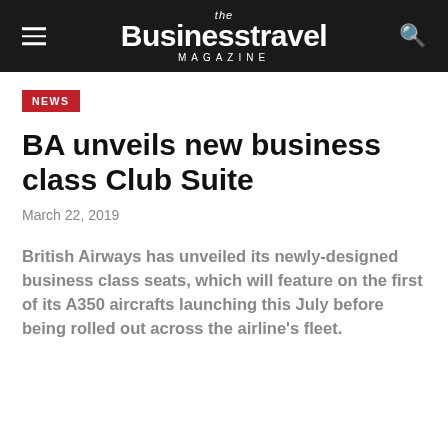the Businesstravel MAGAZINE
NEWS
BA unveils new business class Club Suite
March 22, 2019
British Airways has unveiled its newly-designed business class seats, which will feature on the first of its A350 aircrafts launching this July before being rolled out across the airline's fleet.